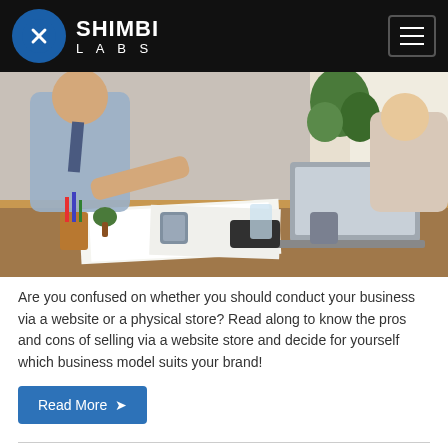SHIMBI LABS
[Figure (photo): Office photo showing two business people working at a desk with a laptop, papers, pens, and cups on a wooden table]
Are you confused on whether you should conduct your business via a website or a physical store? Read along to know the pros and cons of selling via a website store and decide for yourself which business model suits your brand!
Read More ›
Top 10 reasons why